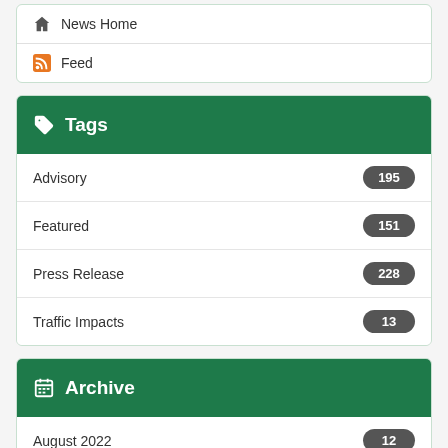News Home
Feed
Tags
Advisory 195
Featured 151
Press Release 228
Traffic Impacts 13
Archive
August 2022 12